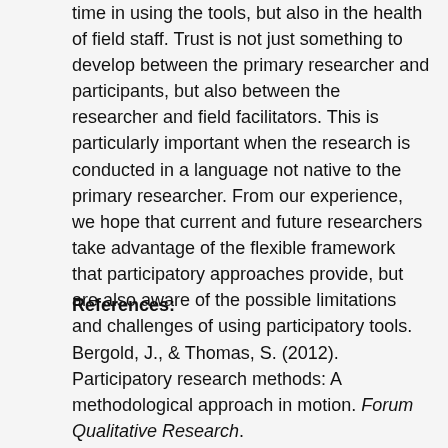time in using the tools, but also in the health of field staff. Trust is not just something to develop between the primary researcher and participants, but also between the researcher and field facilitators. This is particularly important when the research is conducted in a language not native to the primary researcher. From our experience, we hope that current and future researchers take advantage of the flexible framework that participatory approaches provide, but are also aware of the possible limitations and challenges of using participatory tools.
References:
Bergold, J., & Thomas, S. (2012).  Participatory research methods: A methodological approach in motion. Forum Qualitative Research.